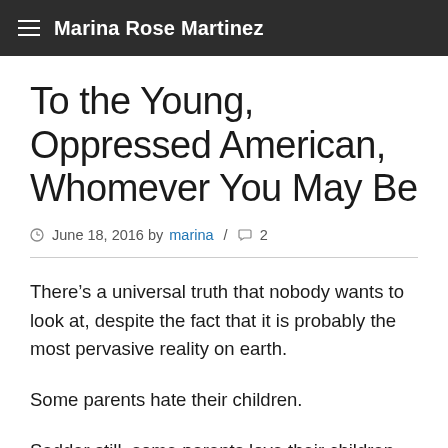Marina Rose Martinez
To the Young, Oppressed American, Whomever You May Be
June 18, 2016 by marina / 2
There’s a universal truth that nobody wants to look at, despite the fact that it is probably the most pervasive reality on earth.
Some parents hate their children.
Sadder still, some parents love their children but have no way to protect them, from themselves, from the